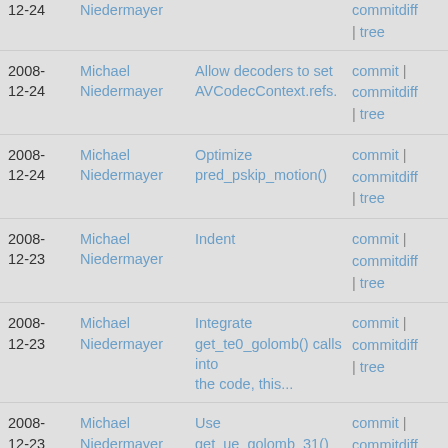2008-12-24 | Michael Niedermayer | (commitdiff | tree)
2008-12-24 | Michael Niedermayer | Allow decoders to set AVCodecContext.refs. | commit | commitdiff | tree
2008-12-24 | Michael Niedermayer | Optimize pred_pskip_motion() | commit | commitdiff | tree
2008-12-23 | Michael Niedermayer | Indent | commit | commitdiff | tree
2008-12-23 | Michael Niedermayer | Integrate get_te0_golomb() calls into the code, this... | commit | commitdiff | tree
2008-12-23 | Michael Niedermayer | Use get_ue_golomb_31() where possible, almost all are... | commit | commitdiff | tree
2008-12-23 | Michael Niedermayer | Update golomb decoding tables so that get_*_golomb_31... | commit | commitdiff | tree
2008- | Michael Niedermayer | Add get_ue_golomb_31() | commit |